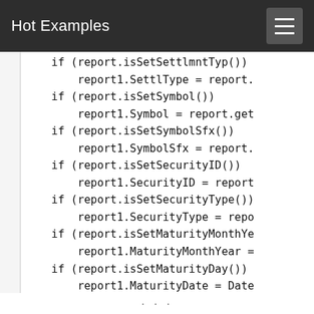Hot Examples
if (report.isSetSettlmntTyp())
    report1.SettlType = report.
if (report.isSetSymbol())
    report1.Symbol = report.get
if (report.isSetSymbolSfx())
    report1.SymbolSfx = report.
if (report.isSetSecurityID())
    report1.SecurityID = report
if (report.isSetSecurityType())
    report1.SecurityType = repo
if (report.isSetMaturityMonthYe
    report1.MaturityMonthYear =
if (report.isSetMaturityDay())
    report1.MaturityDate = Date
if (report.isSetStrikePrice())
    report1.StrikePrice = repor
if (report.isSetOptAttribute())
...